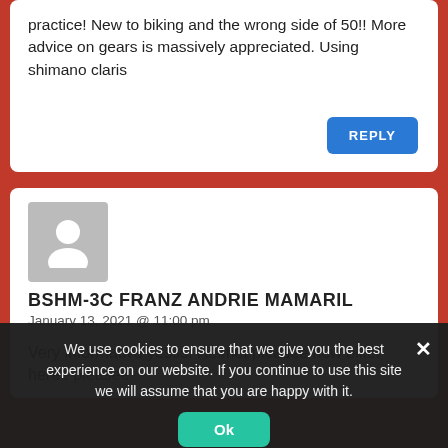practice! New to biking and the wrong side of 50!! More advice on gears is massively appreciated. Using shimano claris
REPLY
[Figure (illustration): Gray placeholder avatar silhouette icon]
BSHM-3C FRANZ ANDRIE MAMARIL
January 13, 2021 @ 11:00 pm
Very informative yesss. Helmet pleasee new biker heree pleasee
We use cookies to ensure that we give you the best experience on our website. If you continue to use this site we will assume that you are happy with it.
Ok